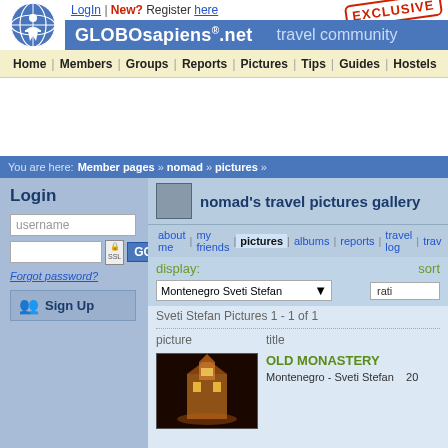GLOBOsapiens.net travel community — Login | New? Register here | EXCLUSIVE
Home | Members | Groups | Reports | Pictures | Tips | Guides | Hostels
[Figure (screenshot): Advertisement banner area]
You are here: Member pages » nomad » pictures »
nomad's travel pictures gallery
about me | my friends | pictures | albums | reports | travel log | trav
display: sort
Montenegro Sveti Stefan (dropdown) | rating (dropdown)
Sveti Stefan Pictures 1 - 1 of 1
picture   title
OLD MONASTERY
Montenegro - Sveti Stefan   20